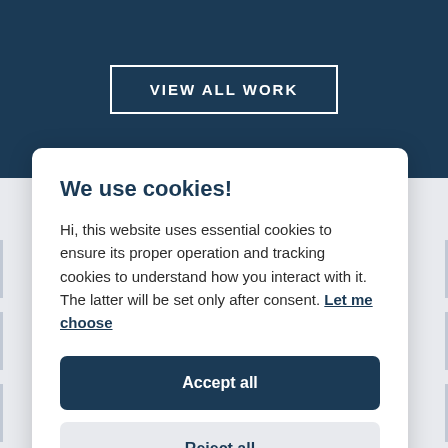VIEW ALL WORK
We use cookies!
Hi, this website uses essential cookies to ensure its proper operation and tracking cookies to understand how you interact with it. The latter will be set only after consent. Let me choose
Accept all
Reject all